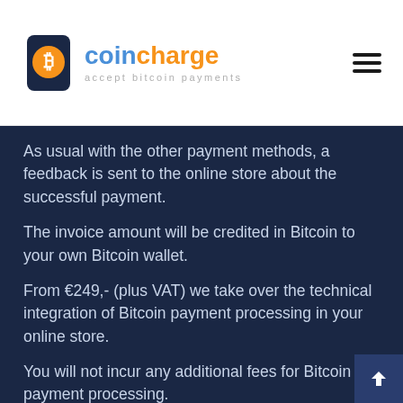[Figure (logo): Coincharge logo with bitcoin icon and tagline 'accept bitcoin payments']
As usual with the other payment methods, a feedback is sent to the online store about the successful payment.
The invoice amount will be credited in Bitcoin to your own Bitcoin wallet.
From €249,- (plus VAT) we take over the technical integration of Bitcoin payment processing in your online store.
You will not incur any additional fees for Bitcoin payment processing.